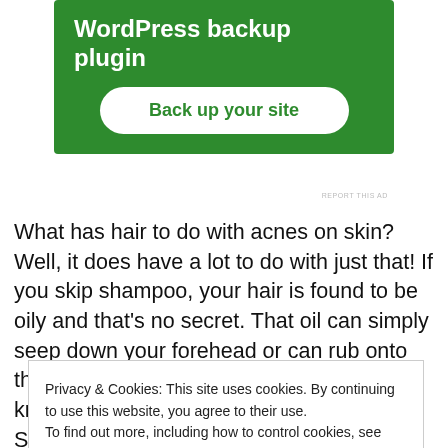[Figure (screenshot): WordPress backup plugin advertisement banner with green background, showing title 'WordPress backup plugin' and a white 'Back up your site' button]
REPORT THIS AD
What has hair to do with acnes on skin? Well, it does have a lot to do with just that! If you skip shampoo, your hair is found to be oily and that's no secret. That oil can simply seep down your forehead or can rub onto the skin when in contact with it. As we know, oil is exactly what we need to avoid. So skipping shampoo is formula one for getting a pimple.
Privacy & Cookies: This site uses cookies. By continuing to use this website, you agree to their use.
To find out more, including how to control cookies, see here: Cookie Policy
Close and accept